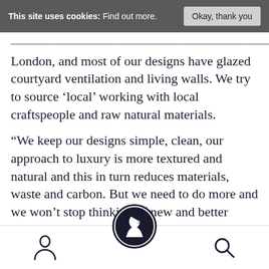This site uses cookies: Find out more. | Okay, thank you
London, and most of our designs have glazed courtyard ventilation and living walls. We try to source ‘local’ working with local craftspeople and raw natural materials.
“We keep our designs simple, clean, our approach to luxury is more textured and natural and this in turn reduces materials, waste and carbon. But we need to do more and we won’t stop thinking of new and better ways to create exceptional…s.”
[Figure (logo): Dark navy circular logo with a profile of a head silhouette in white, center bottom navigation]
[Figure (illustration): User/person outline icon in bottom left nav]
[Figure (illustration): Search/magnifying glass icon in bottom right nav]